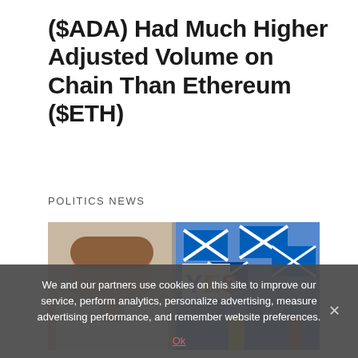($ADA) Had Much Higher Adjusted Volume on Chain Than Ethereum ($ETH)
POLITICS NEWS
[Figure (photo): Photo of a woman in a white jacket on the left, and on the right a crowd of people waving Scottish Saltire flags and YES banners.]
We and our partners use cookies on this site to improve our service, perform analytics, personalize advertising, measure advertising performance, and remember website preferences.
Ok